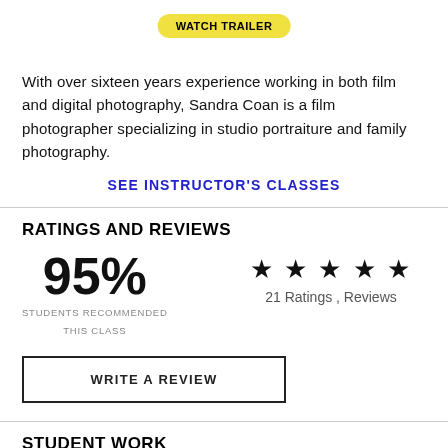[Figure (other): WATCH TRAILER button — yellow pill-shaped button overlaid at top center]
With over sixteen years experience working in both film and digital photography, Sandra Coan is a film photographer specializing in studio portraiture and family photography.
SEE INSTRUCTOR'S CLASSES
RATINGS AND REVIEWS
95%
STUDENTS RECOMMENDED THIS CLASS
★★★★★ 21 Ratings , Reviews
WRITE A REVIEW
STUDENT WORK